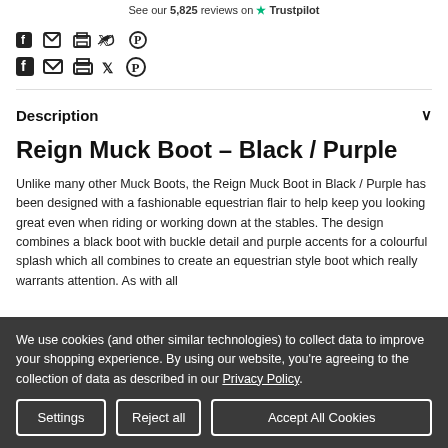See our 5,825 reviews on Trustpilot
[Figure (other): Social sharing icons: Facebook, Email, Print, Twitter, Pinterest]
Description
Reign Muck Boot - Black / Purple
Unlike many other Muck Boots, the Reign Muck Boot in Black / Purple has been designed with a fashionable equestrian flair to help keep you looking great even when riding or working down at the stables. The design combines a black boot with buckle detail and purple accents for a colourful splash which all combines to create an equestrian style boot which really warrants attention. As with all
We use cookies (and other similar technologies) to collect data to improve your shopping experience. By using our website, you're agreeing to the collection of data as described in our Privacy Policy.
Settings | Reject all | Accept All Cookies